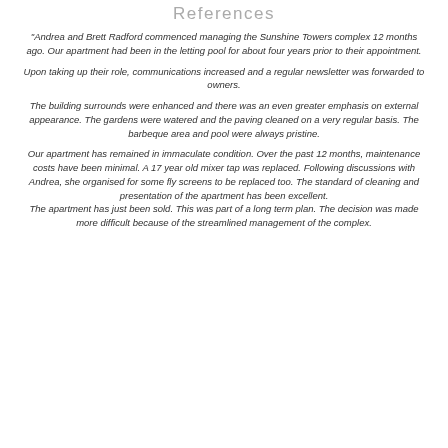References
"Andrea and Brett Radford commenced managing the Sunshine Towers complex 12 months ago. Our apartment had been in the letting pool for about four years prior to their appointment.
Upon taking up their role, communications increased and a regular newsletter was forwarded to owners.
The building surrounds were enhanced and there was an even greater emphasis on external appearance. The gardens were watered and the paving cleaned on a very regular basis. The barbeque area and pool were always pristine.
Our apartment has remained in immaculate condition. Over the past 12 months, maintenance costs have been minimal. A 17 year old mixer tap was replaced. Following discussions with Andrea, she organised for some fly screens to be replaced too. The standard of cleaning and presentation of the apartment has been excellent. The apartment has just been sold. This was part of a long term plan. The decision was made more difficult because of the streamlined management of the complex.